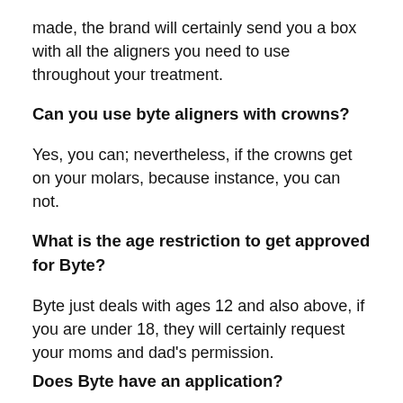made, the brand will certainly send you a box with all the aligners you need to use throughout your treatment.
Can you use byte aligners with crowns?
Yes, you can; nevertheless, if the crowns get on your molars, because instance, you can not.
What is the age restriction to get approved for Byte?
Byte just deals with ages 12 and also above, if you are under 18, they will certainly request your moms and dad's permission.
Does Byte have an application?